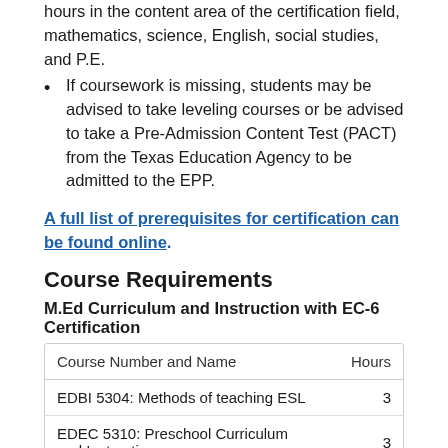hours in the content area of the certification field, mathematics, science, English, social studies, and P.E.
If coursework is missing, students may be advised to take leveling courses or be advised to take a Pre-Admission Content Test (PACT) from the Texas Education Agency to be admitted to the EPP.
A full list of prerequisites for certification can be found online.
Course Requirements
M.Ed Curriculum and Instruction with EC-6 Certification
| Course Number and Name | Hours |
| --- | --- |
| EDBI 5304: Methods of teaching ESL | 3 |
| EDEC 5310: Preschool Curriculum and Instruction | 3 |
| EDRE 5310: Reading & Writing for Pre-Adolescents | 3 |